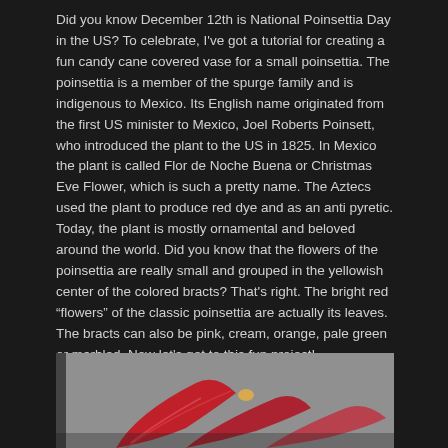Did you know December 12th is National Poinsettia Day in the US?  To celebrate, I've got a tutorial for creating a fun candy cane covered vase for a small poinsettia.  The poinsettia is a member of the spurge family and is indigenous to Mexico.  Its English name originated from the first US minister to Mexico, Joel Roberts Poinsett, who introduced the plant to the US in 1825.  In Mexico the plant is called Flor de Noche Buena or Christmas Eve Flower, which is such a pretty name.  The Aztecs used the plant to produce red dye and as an anti pyretic.  Today, the plant is mostly ornamental and beloved around the world.  Did you know that the flowers of the poinsettia are really small and grouped in the yellowish center of the colored bracts?  That's right.  The bright red “flowers” of the classic poinsettia are actually its leaves.  The bracts can also be pink, cream, orange, pale green or marbled.  Now let's get to this fun project!
[Figure (photo): Partial photo of a red poinsettia plant against a gray background, visible at bottom of page]